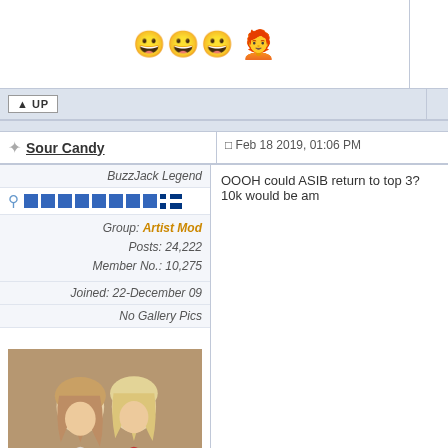[Figure (screenshot): Forum post page from BuzzJack showing user Sour Candy's post dated Feb 18 2019, 01:06 PM saying 'OOOH could ASIB return to top 3? 10k would be am'. User profile shows: BuzzJack Legend, Group: Artist Mod, Posts: 24,222, Member No.: 10,275, Joined: 22-December 09, No Gallery Pics. Profile photo shows two women. Signature emojis include construction worker, woman, headphones.]